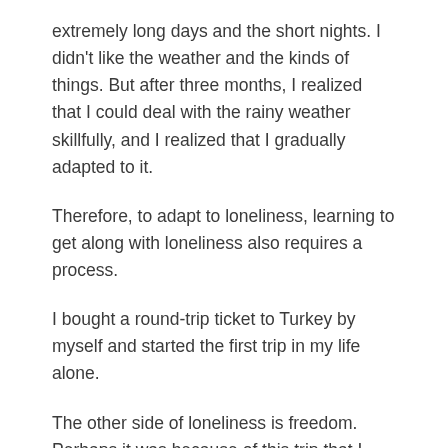extremely long days and the short nights. I didn't like the weather and the kinds of things. But after three months, I realized that I could deal with the rainy weather skillfully, and I realized that I gradually adapted to it.
Therefore, to adapt to loneliness, learning to get along with loneliness also requires a process.
I bought a round-trip ticket to Turkey by myself and started the first trip in my life alone.
The other side of loneliness is freedom. Perhaps it was because of this trip that I realized the kind of freedom that I was allowed to release, and it was the beginning of my beginning to learn to enjoy loneliness.
From adapting to loneliness to enjoying loneliness, this journey has taught me a lot. There I met many local